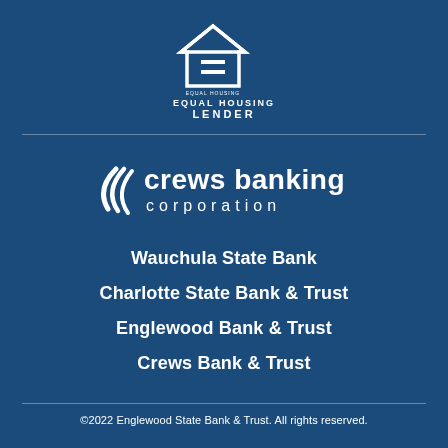[Figure (logo): Equal Housing Lender logo — house icon with equal sign, text EQUAL HOUSING LENDER]
[Figure (logo): Crews Banking Corporation logo — stylized arcs/swoosh followed by 'crews banking corporation' text in white]
Wauchula State Bank
Charlotte State Bank & Trust
Englewood Bank & Trust
Crews Bank & Trust
©2022 Englewood State Bank & Trust. All rights reserved.